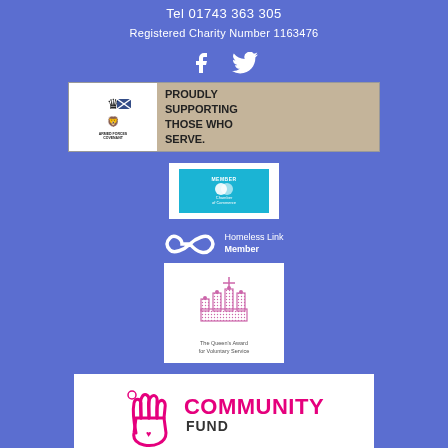Tel 01743 363 305
Registered Charity Number 1163476
[Figure (logo): Facebook and Twitter social media icons in white on blue background]
[Figure (logo): Armed Forces Covenant logo with text: PROUDLY SUPPORTING THOSE WHO SERVE.]
[Figure (logo): Chamber of Commerce Member badge on white background]
[Figure (logo): Homeless Link Member logo with infinity symbol]
[Figure (logo): The Queen's Award for Voluntary Service crown logo on white background]
[Figure (logo): National Lottery Community Fund logo on white background]